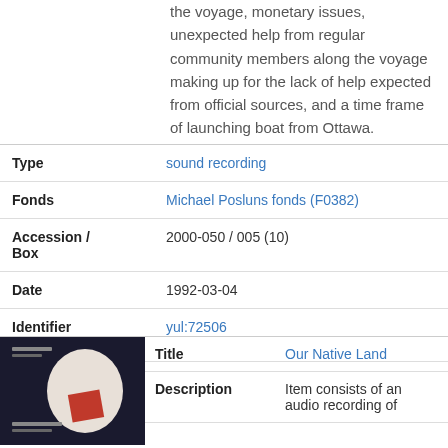the voyage, monetary issues, unexpected help from regular community members along the voyage making up for the lack of help expected from official sources, and a time frame of launching boat from Ottawa.
| Type | sound recording |
| Fonds | Michael Posluns fonds (F0382) |
| Accession / Box | 2000-050 / 005 (10) |
| Date | 1992-03-04 |
| Identifier (PID) | yul:72506 |
[Figure (photo): Thumbnail image of a book or media cover with dark background and red/white design elements]
| Title | Our Native Land |
| Description | Item consists of an audio recording of |